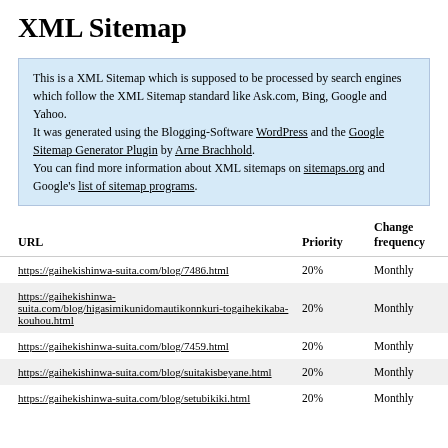XML Sitemap
This is a XML Sitemap which is supposed to be processed by search engines which follow the XML Sitemap standard like Ask.com, Bing, Google and Yahoo. It was generated using the Blogging-Software WordPress and the Google Sitemap Generator Plugin by Arne Brachhold. You can find more information about XML sitemaps on sitemaps.org and Google's list of sitemap programs.
| URL | Priority | Change frequency |
| --- | --- | --- |
| https://gaihekishinwa-suita.com/blog/7486.html | 20% | Monthly |
| https://gaihekishinwa-suita.com/blog/higasimikunidomautikonnkuri-togaihekikaba-kouhou.html | 20% | Monthly |
| https://gaihekishinwa-suita.com/blog/7459.html | 20% | Monthly |
| https://gaihekishinwa-suita.com/blog/suitakisbeyane.html | 20% | Monthly |
| https://gaihekishinwa-suita.com/blog/setubikiki.html | 20% | Monthly |